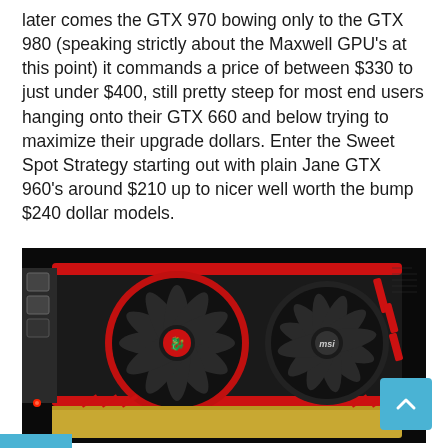later comes the GTX 970 bowing only to the GTX 980 (speaking strictly about the Maxwell GPU's at this point) it commands a price of between $330 to just under $400, still pretty steep for most end users hanging onto their GTX 660 and below trying to maximize their upgrade dollars. Enter the Sweet Spot Strategy starting out with plain Jane GTX 960's around $210 up to nicer well worth the bump $240 dollar models.
[Figure (photo): MSI Gaming GTX graphics card with dual fans — red and black shroud with MSI dragon logo on left fan and MSI text logo on right fan, dual large black fans with red ring accent on left fan, gold PCB visible at bottom.]